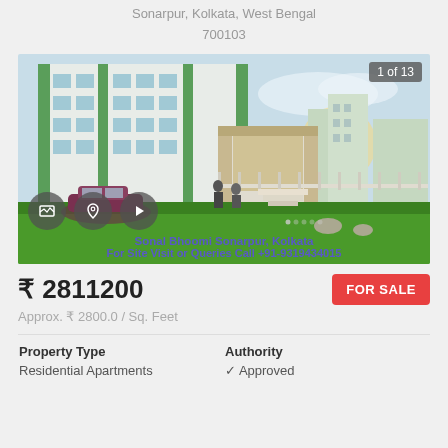Sonarpur, Kolkata, West Bengal
700103
[Figure (photo): Exterior rendering of Sonal Bhoomi residential apartment complex in Sonarpur, Kolkata. Multi-story white buildings with green accents, a large entrance gate, landscaped grounds, and a car parked in front. Badge shows '1 of 13'. Three icon buttons at bottom (image, map, video).]
Sonal Bhoomi Sonarpur, Kolkata
For Site Visit or Queries Call +91-9319434015
₹ 2811200
FOR SALE
Approx. ₹ 2800.0 / Sq. Feet
| Property Type | Authority |
| --- | --- |
| Residential Apartments | ✓ Approved |